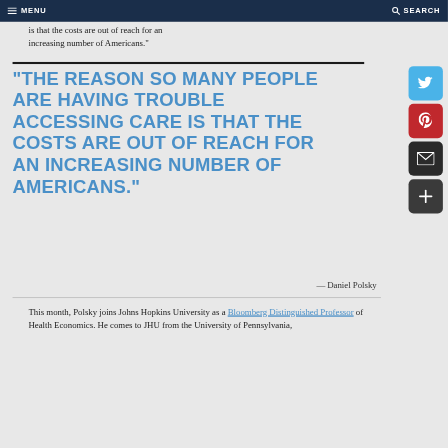MENU   SEARCH
is that the costs are out of reach for an increasing number of Americans."
"THE REASON SO MANY PEOPLE ARE HAVING TROUBLE ACCESSING CARE IS THAT THE COSTS ARE OUT OF REACH FOR AN INCREASING NUMBER OF AMERICANS."
— Daniel Polsky
This month, Polsky joins Johns Hopkins University as a Bloomberg Distinguished Professor of Health Economics. He comes to JHU from the University of Pennsylvania,